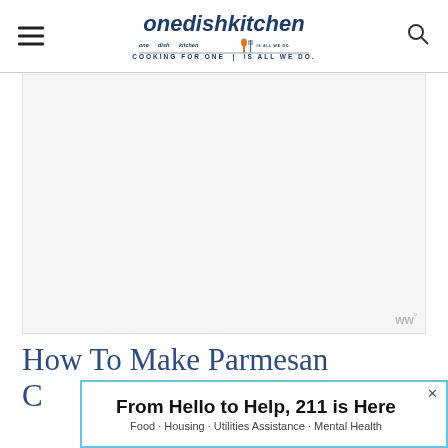one dish kitchen — COOKING FOR ONE | IS ALL WE DO.
[Figure (photo): Large blank/white image area representing a food photo placeholder with Ww° watermark in bottom right corner]
How To Make Parmesan C…
[Figure (infographic): Advertisement banner: 'From Hello to Help, 211 is Here' with subtext 'Food · Housing · Utilities Assistance · Mental Health' and a close button (×) in top right corner, blue border]